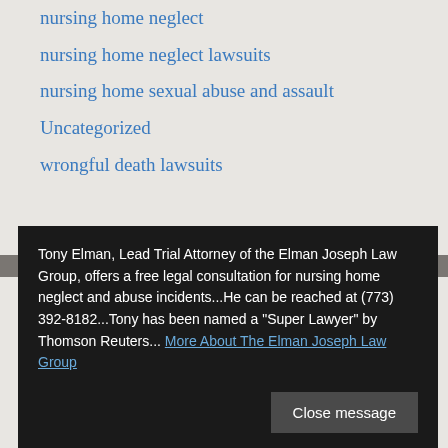nursing home neglect
nursing home neglect lawsuits
nursing home sexual abuse and assault
Uncategorized
wrongful death lawsuits
Archives
Tony Elman, Lead Trial Attorney of the Elman Joseph Law Group, offers a free legal consultation for nursing home neglect and abuse incidents...He can be reached at (773) 392-8182...Tony has been named a "Super Lawyer" by Thomson Reuters... More About The Elman Joseph Law Group
September 2018